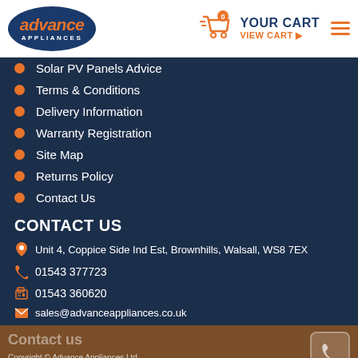advance APPLIANCES — YOUR CART 0 — VIEW CART
Solar PV Panels Advice
Terms & Conditions
Delivery Information
Warranty Registration
Site Map
Returns Policy
Contact Us
CONTACT US
Unit 4, Coppice Side Ind Est, Brownhills, Walsall, WS8 7EX
01543 377723
01543 360620
sales@advanceappliances.co.uk
Contact us — Copyright © Advance Appliances Ltd.